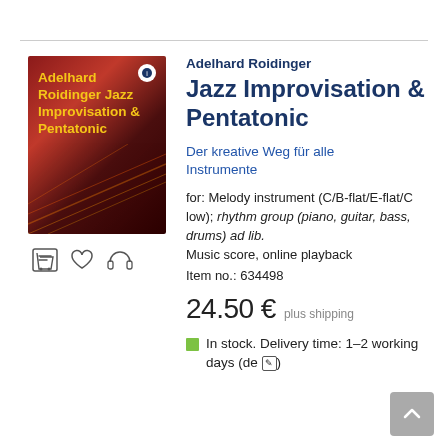[Figure (illustration): Book cover of 'Adelhard Roidinger Jazz Improvisation & Pentatonic' with dark red/crimson background and yellow bold title text]
Adelhard Roidinger
Jazz Improvisation & Pentatonic
Der kreative Weg für alle Instrumente
for: Melody instrument (C/B-flat/E-flat/C low); rhythm group (piano, guitar, bass, drums) ad lib. Music score, online playback
Item no.: 634498
24.50 €  plus shipping
In stock. Delivery time: 1–2 working days (de ✎)